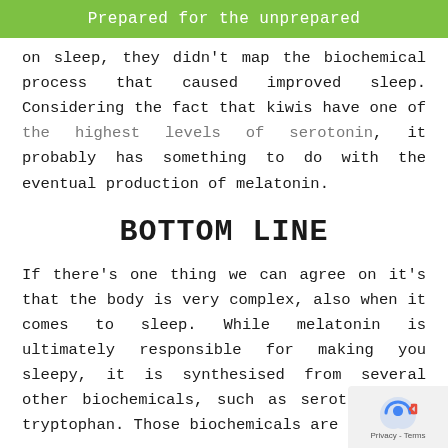Prepared for the unprepared
on sleep, they didn't map the biochemical process that caused improved sleep. Considering the fact that kiwis have one of the highest levels of serotonin, it probably has something to do with the eventual production of melatonin.
BOTTOM LINE
If there's one thing we can agree on it's that the body is very complex, also when it comes to sleep. While melatonin is ultimately responsible for making you sleepy, it is synthesised from several other biochemicals, such as serotonin and tryptophan. Those biochemicals are